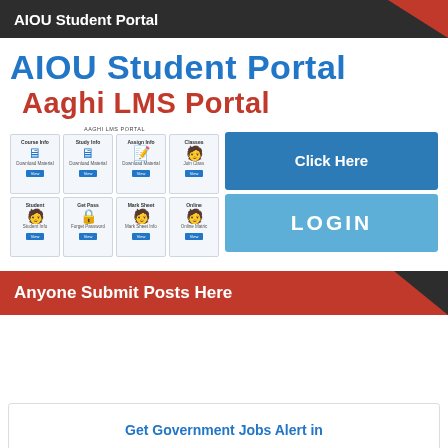AIOU Student Portal
AIOU Student Portal
Aaghi LMS Portal
[Figure (screenshot): Screenshot of Aaghi LMS Portal interface with a 4x2 grid of feature tiles (icons for course downloads, question mark, user figures) and two buttons: 'Click Here' and 'LOGIN' on the right side.]
Anyone Submit Posts Here
Get Government Jobs Alert in